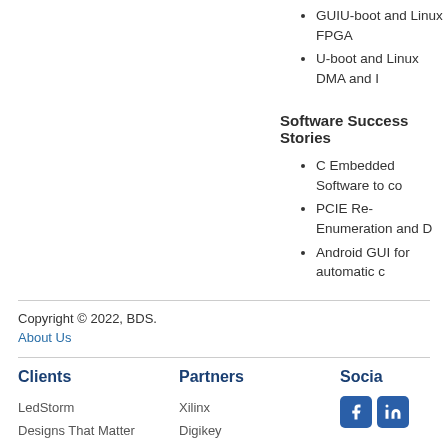GUIU-boot and Linux FPGA
U-boot and Linux DMA and I
Software Success Stories
C Embedded Software to co
PCIE Re-Enumeration and D
Android GUI for automatic c
Copyright © 2022, BDS.
About Us
Clients
LedStorm
Designs That Matter
Nortel
Lockheed-Martin
Partners
Xilinx
Digikey
Kontron
AMCC
Social